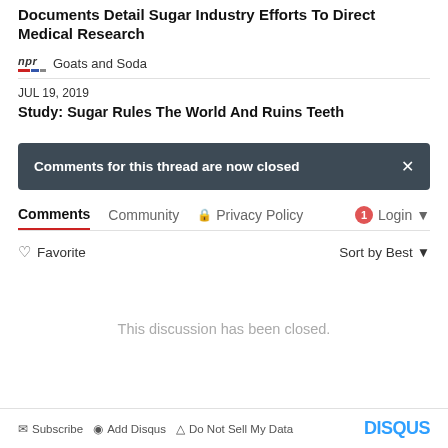Documents Detail Sugar Industry Efforts To Direct Medical Research
npr Goats and Soda
JUL 19, 2019
Study: Sugar Rules The World And Ruins Teeth
Comments for this thread are now closed
Comments  Community  Privacy Policy  Login
Favorite  Sort by Best
This discussion has been closed.
Subscribe  Add Disqus  Do Not Sell My Data  DISQUS